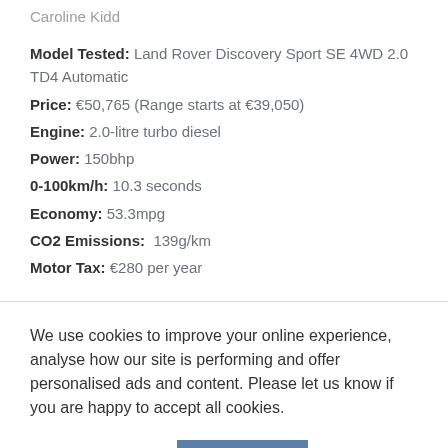Caroline Kidd
Model Tested: Land Rover Discovery Sport SE 4WD 2.0 TD4 Automatic
Price: €50,765 (Range starts at €39,050)
Engine: 2.0-litre turbo diesel
Power: 150bhp
0-100km/h: 10.3 seconds
Economy: 53.3mpg
CO2 Emissions: 139g/km
Motor Tax: €280 per year
We use cookies to improve your online experience, analyse how our site is performing and offer personalised ads and content. Please let us know if you are happy to accept all cookies.
Manage settings
ACCEPT